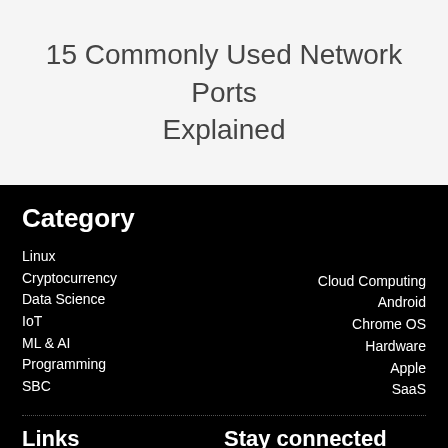15 Commonly Used Network Ports Explained
Category
Linux
Cryptocurrency
Cloud Computing
Data Science
Android
IoT
Chrome OS
ML & AI
Hardware
Programming
Apple
SBC
SaaS
Links
Stay connected
About